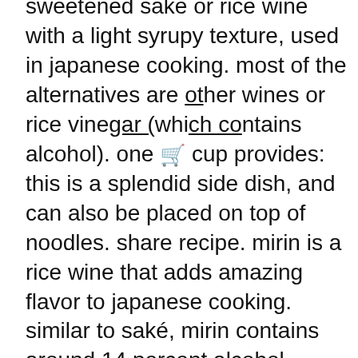sweetened sake or rice wine with a light syrupy texture, used in japanese cooking. most of the alternatives are other wines or rice vinegar (which contains alcohol). one cup provides: this is a splendid side dish, and can also be placed on top of noodles. share recipe. mirin is a rice wine that adds amazing flavor to japanese cooking. similar to saké, mirin contains around 14 percent alcohol (compared to 18 to 20 percent for saké) and has a high sugar content. aji-mirin. is there mirin in the philippines? western-style broths and stocks are similar and may be used in place of dashi. if any added sugar is necessary in the recipe, skip it if you substitute mirin so that you do not over-sweeten the dish. replies. no. among the best-selling collections from kikkoman are the soy sauce 500ml, dark soy sauce 600ml and 1 liter original japanese. if you've got a well-stocked liquor cabinet, head that way. mirin they contain less than 1 percent of alcohol and the taste resembles that of mirin. mirin is a japanese sweet rice wine used to balance